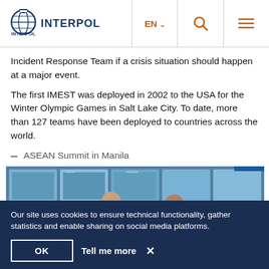INTERPOL — EN — [search] [menu]
Incident Response Team if a crisis situation should happen at a major event.
The first IMEST was deployed in 2002 to the USA for the Winter Olympic Games in Salt Lake City. To date, more than 127 teams have been deployed to countries across the world.
– ASEAN Summit in Manila
[Figure (photo): Two men in a security operations center looking at monitors showing surveillance footage, one talking on a phone, the other pointing at screens.]
Our site uses cookies to ensure technical functionality, gather statistics and enable sharing on social media platforms.